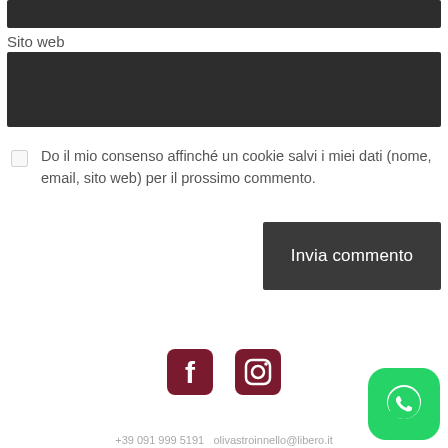[Figure (other): Dark input bar at top (e.g. email or name field)]
Sito web
[Figure (other): Dark input bar for Sito web (website URL field)]
Do il mio consenso affinché un cookie salvi i miei dati (nome, email, sito web) per il prossimo commento.
Invia commento
[Figure (other): Facebook and Instagram social media icons]
[Figure (other): WhatsApp button in bottom-right corner]
+39 091 999 5191 olivastroinnello@libero.it